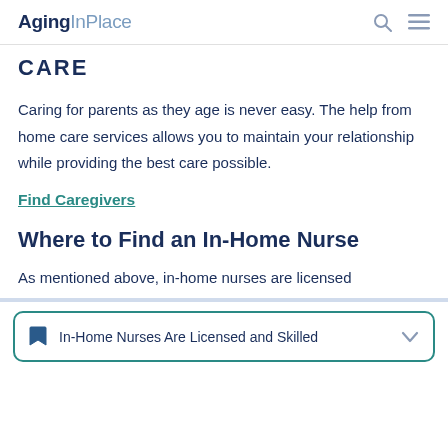AgingInPlace
CARE
Caring for parents as they age is never easy. The help from home care services allows you to maintain your relationship while providing the best care possible.
Find Caregivers
Where to Find an In-Home Nurse
As mentioned above, in-home nurses are licensed
In-Home Nurses Are Licensed and Skilled